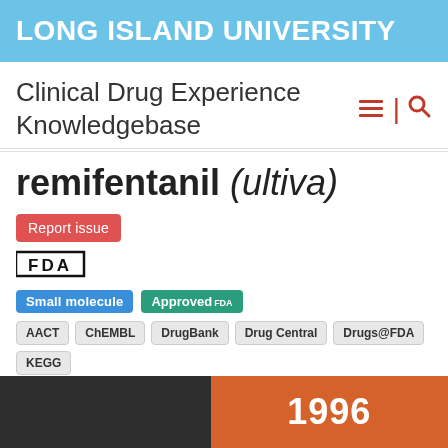LONG ISLAND UNIVERSITY
Clinical Drug Experience Knowledgebase
remifentanil (ultiva)
Report issue
[Figure (logo): FDA logo]
Small molecule
Approved FDA
AACT | ChEMBL | DrugBank | Drug Central | Drugs@FDA | KEGG | MeSH | PubChem | repoDB
ACTIVE INGREDIENT HISTORY
[Figure (infographic): Timeline bar split: dark left section and orange right section showing year 1996]